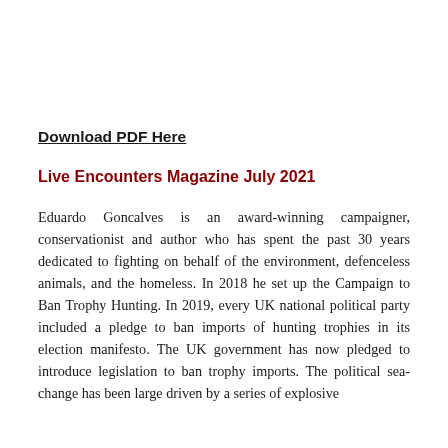Download PDF Here
Live Encounters Magazine July 2021
Eduardo Goncalves is an award-winning campaigner, conservationist and author who has spent the past 30 years dedicated to fighting on behalf of the environment, defenceless animals, and the homeless. In 2018 he set up the Campaign to Ban Trophy Hunting. In 2019, every UK national political party included a pledge to ban imports of hunting trophies in its election manifesto. The UK government has now pledged to introduce legislation to ban trophy imports. The political sea-change has been large driven by a series of explosive